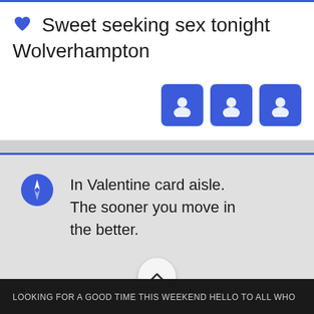💙 Sweet seeking sex tonight Wolverhampton
[Figure (screenshot): Three blue rounded-square user avatar icons in a row]
In Valentine card aisle. The sooner you move in the better.
LOOKING FOR A GOOD TIME THIS WEEKEND HELLO TO ALL WHO